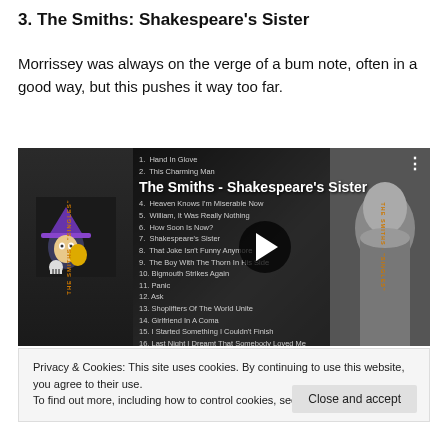3. The Smiths: Shakespeare's Sister
Morrissey was always on the verge of a bum note, often in a good way, but this pushes it way too far.
[Figure (screenshot): YouTube video thumbnail screenshot showing 'The Smiths - Shakespeare's Sister' with album cover art on left, tracklist in middle, and black-and-white photo of person on right, with a play button overlay.]
Privacy & Cookies: This site uses cookies. By continuing to use this website, you agree to their use.
To find out more, including how to control cookies, see here: Cookie Policy
Close and accept